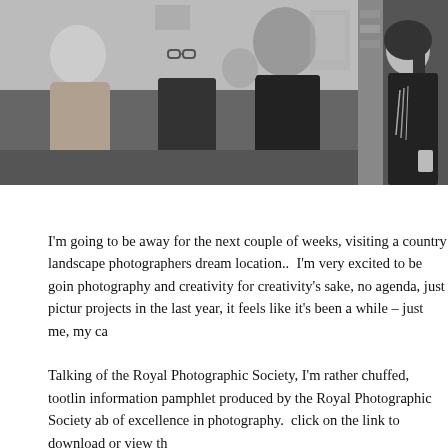[Figure (photo): Black and white photo of a group of people at what appears to be an indoor social event or gallery opening. Three men are prominently visible, one wearing glasses in the center, another older man on the left, and a person in dark clothing on the right side.]
[Figure (photo): Black and white photo of a woman with long dark hair, partially cropped on the right side of the page, at what appears to be the same indoor event.]
I'm going to be away for the next couple of weeks, visiting a country landscape photographers dream location..  I'm very excited to be going photography and creativity for creativity's sake, no agenda, just pictur projects in the last year, it feels like it's been a while – just me, my ca
Talking of the Royal Photographic Society, I'm rather chuffed, tootlin information pamphlet produced by the Royal Photographic Society ab of excellence in photography.  click on the link to download or view th